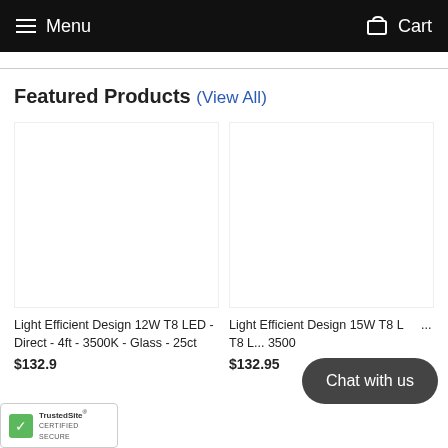Menu   Cart
Featured Products (View All)
[Figure (photo): Product image placeholder for Light Efficient Design 12W T8 LED - Direct - 4ft - 3500K - Glass - 25ct]
Light Efficient Design 12W T8 LED - Direct - 4ft - 3500K - Glass - 25ct
$132.95 (price partially visible)
[Figure (photo): Product image placeholder for Light Efficient Design 15W T8 LED - Direct - 4ft - 3500K]
Light Efficient Design 15W T8 LED - Direct - 4ft - 3500K
$132.95
[Figure (other): TrustedSite Certified Secure badge]
Chat with us